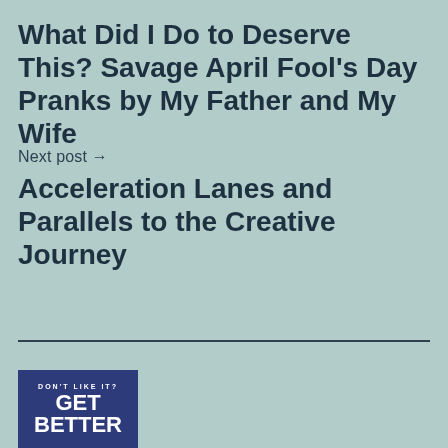What Did I Do to Deserve This? Savage April Fool’s Day Pranks by My Father and My Wife
Next post →
Acceleration Lanes and Parallels to the Creative Journey
[Figure (logo): Navy blue rectangular logo with text: DON'T LIKE IT? GET BETTER in white]